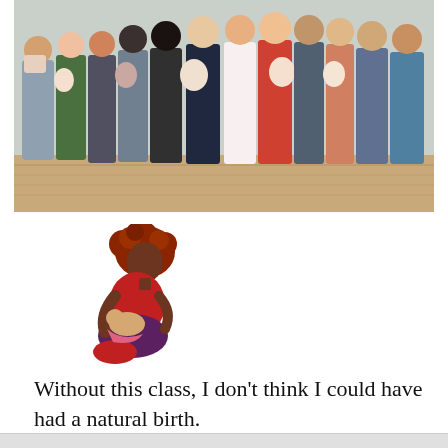[Figure (photo): Group photo of approximately 13-14 adults, many holding babies, standing in a room with a wooden floor and light blue/grey walls. The group appears to be participants of a childbirth or parenting class.]
[Figure (illustration): Illustration of a dark-skinned woman with red/auburn curly hair, wearing a red top, sitting cross-legged and breastfeeding a baby. The illustration uses warm brown and red tones.]
Without this class, I don't think I could have had a natural birth.